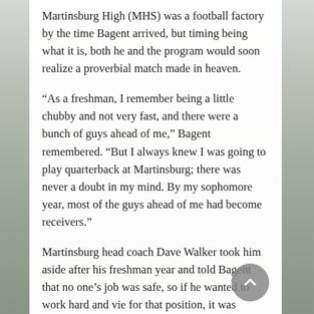Martinsburg High (MHS) was a football factory by the time Bagent arrived, but timing being what it is, both he and the program would soon realize a proverbial match made in heaven.
“As a freshman, I remember being a little chubby and not very fast, and there were a bunch of guys ahead of me,” Bagent remembered. “But I always knew I was going to play quarterback at Martinsburg; there was never a doubt in my mind. By my sophomore year, most of the guys ahead of me had become receivers.”
Martinsburg head coach Dave Walker took him aside after his freshman year and told Bagent that no one’s job was safe, so if he wanted to work hard and vie for that position, it was possible. Bagent